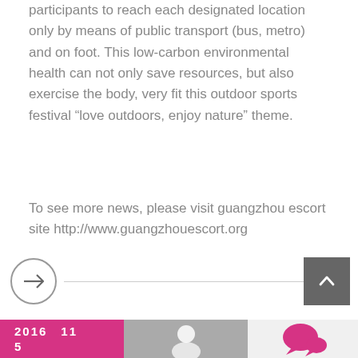participants to reach each designated location only by means of public transport (bus, metro) and on foot. This low-carbon environmental health can not only save resources, but also exercise the body, very fit this outdoor sports festival “love outdoors, enjoy nature” theme.
To see more news, please visit guangzhou escort site http://www.guangzhouescort.org
[Figure (other): Navigation arrow circle button pointing right, horizontal divider line, and scroll-to-top button with upward chevron icon]
[Figure (other): Bottom strip with a pink/magenta date box showing '2016 11' and '5', a gray avatar placeholder circle, and a magenta speech bubble chat icon on light background]